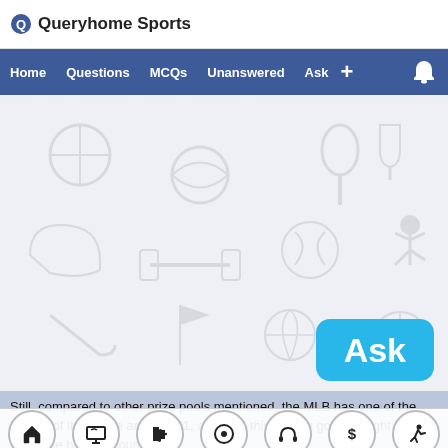Queryhome Sports
[Figure (screenshot): Navigation bar with links: Home, Questions, MCQs, Unanswered, Ask, plus button, and bell icon on blue background]
[Figure (illustration): Sports-themed watermark background with faded sports equipment icons on light gray-blue background, with a cyan 'Ask' button in the lower right]
Still, compared to other prize pools mentioned, the MLB has one of the largest of its league and like F1, a bulk of this money goes straight to franchise bank accounts